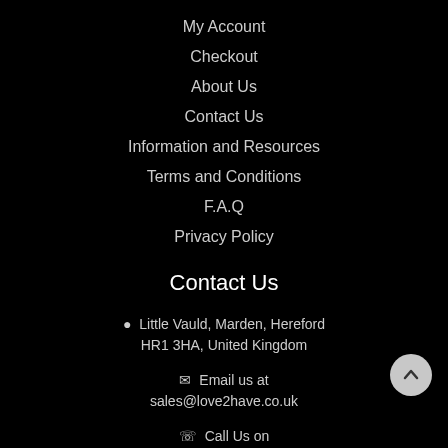My Account
Checkout
About Us
Contact Us
Information and Resources
Terms and Conditions
F.A.Q
Privacy Policy
Contact Us
Little Vauld, Marden, Hereford HR1 3HA, United Kingdom
Email us at sales@love2have.co.uk
Call Us on +44 (0) 1568 797733